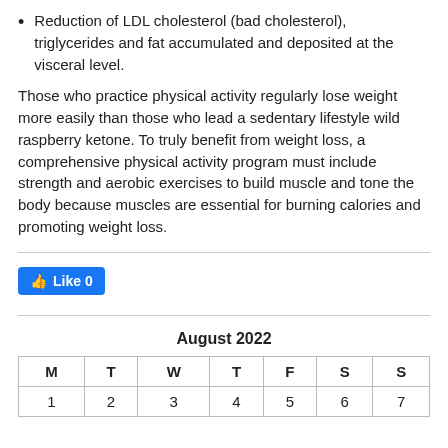Reduction of LDL cholesterol (bad cholesterol), triglycerides and fat accumulated and deposited at the visceral level.
Those who practice physical activity regularly lose weight more easily than those who lead a sedentary lifestyle wild raspberry ketone. To truly benefit from weight loss, a comprehensive physical activity program must include strength and aerobic exercises to build muscle and tone the body because muscles are essential for burning calories and promoting weight loss.
[Figure (other): Facebook Like button showing Like 0]
| M | T | W | T | F | S | S |
| --- | --- | --- | --- | --- | --- | --- |
| 1 | 2 | 3 | 4 | 5 | 6 | 7 |